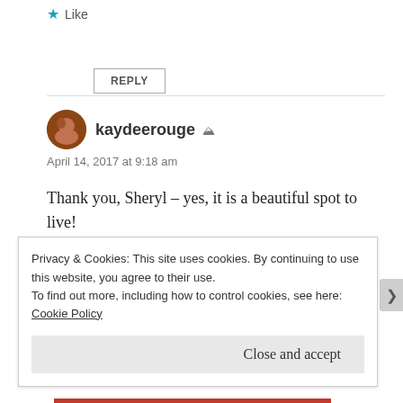★ Like
REPLY
kaydeerouge ≛
April 14, 2017 at 9:18 am
Thank you, Sheryl – yes, it is a beautiful spot to live!
★ Like
Privacy & Cookies: This site uses cookies. By continuing to use this website, you agree to their use.
To find out more, including how to control cookies, see here: Cookie Policy
Close and accept